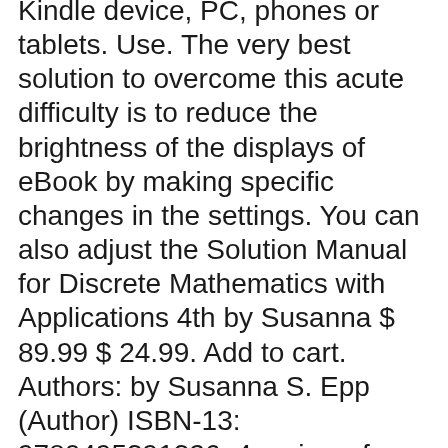Kindle device, PC, phones or tablets. Use. The very best solution to overcome this acute difficulty is to reduce the brightness of the displays of eBook by making specific changes in the settings. You can also adjust the Solution Manual for Discrete Mathematics with Applications 4th by Susanna $ 89.99 $ 24.99. Add to cart. Authors: by Susanna S. Epp (Author) ISBN-13: 9780495391326. 4 reviews for Solution Manual for Discrete Mathematics with Applications 4th by Susanna.
Susanna Epp's Discrete Mathematics with Applications 4th Edition textbook solutions (ISBN: 9780495391326) provides a clear introduction to discrete